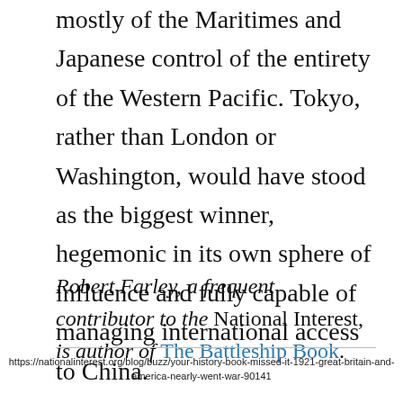mostly of the Maritimes and Japanese control of the entirety of the Western Pacific. Tokyo, rather than London or Washington, would have stood as the biggest winner, hegemonic in its own sphere of influence and fully capable of managing international access to China.
Robert Farley, a frequent contributor to the National Interest, is author of The Battleship Book.
https://nationalinterest.org/blog/buzz/your-history-book-missed-it-1921-great-britain-and-america-nearly-went-war-90141